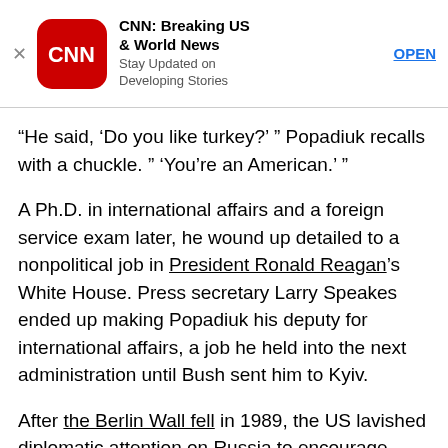[Figure (other): CNN app advertisement banner with CNN logo, app name 'CNN: Breaking US & World News', subtitle 'Stay Updated on Developing Stories', and an OPEN button]
“He said, ‘Do you like turkey?’ ” Popadiuk recalls with a chuckle. ” ‘You’re an American.’ ”
A Ph.D. in international affairs and a foreign service exam later, he wound up detailed to a nonpolitical job in President Ronald Reagan’s White House. Press secretary Larry Speakes ended up making Popadiuk his deputy for international affairs, a job he held into the next administration until Bush sent him to Kyiv.
After the Berlin Wall fell in 1989, the US lavished diplomatic attention on Russia to encourage economic modernization and security cooperation from its former Cold War adversary. Former Soviet republics such as Ukraine, Popadiuk says, didn’t get